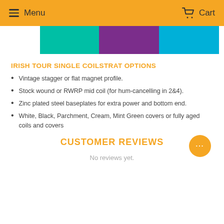Menu  Cart
[Figure (illustration): Three colored rectangular blocks: teal, purple, and light blue]
IRISH TOUR SINGLE COILSTRAT OPTIONS
Vintage stagger or flat magnet profile.
Stock wound or RWRP mid coil (for hum-cancelling in 2&4).
Zinc plated steel baseplates for extra power and bottom end.
White, Black, Parchment, Cream, Mint Green covers or fully aged coils and covers
CUSTOMER REVIEWS
No reviews yet.